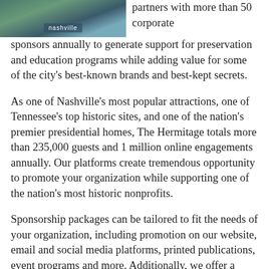[Figure (photo): Photo of Nashville signage or attraction, with 'nashville' text visible on a banner/sign, with green and blue tones in the background.]
partners with more than 50 corporate sponsors annually to generate support for preservation and education programs while adding value for some of the city's best-known brands and best-kept secrets.
As one of Nashville's most popular attractions, one of Tennessee's top historic sites, and one of the nation's premier presidential homes, The Hermitage totals more than 235,000 guests and 1 million online engagements annually. Our platforms create tremendous opportunity to promote your organization while supporting one of the nation's most historic nonprofits.
Sponsorship packages can be tailored to fit the needs of your organization, including promotion on our website, email and social media platforms, printed publications, event programs and more. Additionally, we offer a wide variety of entertainment benefits for you and your colleagues or